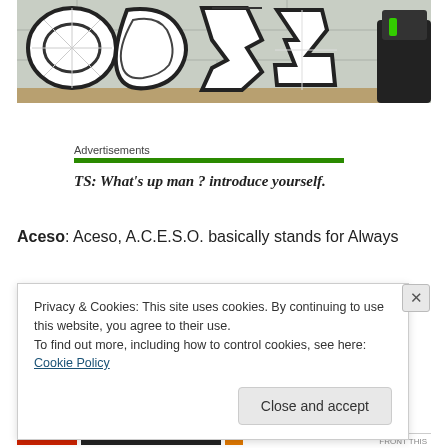[Figure (photo): Graffiti on a wall with large stylized letters, partial view of a dark vehicle on the right side.]
Advertisements
TS: What's up man ? introduce yourself.
Aceso: Aceso, A.C.E.S.O. basically stands for Always
Privacy & Cookies: This site uses cookies. By continuing to use this website, you agree to their use.
To find out more, including how to control cookies, see here: Cookie Policy
Close and accept